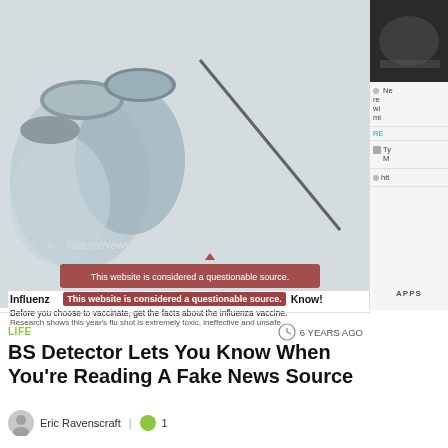[Figure (screenshot): Screenshot of a web article page showing vaccine vials and syringe image with 'NaturalNews.com' watermark, and a red tooltip reading 'This website is considered a questionable source.' Over the image text: 'Influenza ... Know!' and 'Before you choose to vaccinate, get the facts about the influenza vaccine. Research shows this year's flu shot is extremely toxic, ineffective and unsafe']
LIFE
6 YEARS AGO
BS Detector Lets You Know When You’re Reading A Fake News Source
Eric Ravenscraft  |  1
[Figure (screenshot): Ad banner for Firestone. Text: 'Firestone / Download The Free App' with a DOWNLOAD button in blue.]